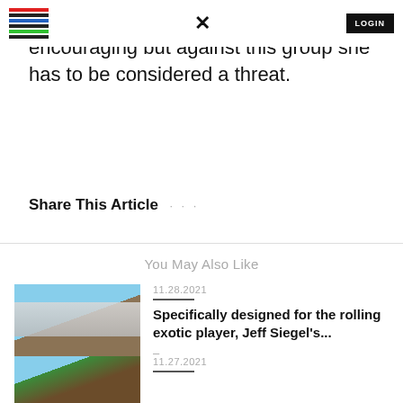LOGIN
encouraging but against this group she has to be considered a threat.
Share This Article
You May Also Like
[Figure (photo): Racetrack grandstand with horses racing on dirt track, blue sky with clouds]
11.28.2021
Specifically designed for the rolling exotic player, Jeff Siegel's...
[Figure (photo): Horse racing jockeys on turf track]
11.27.2021